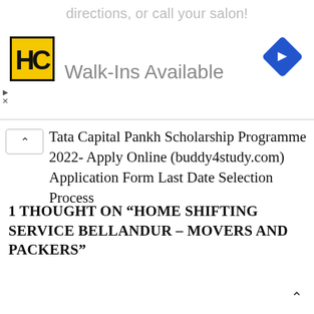directions, or call your salon!
[Figure (logo): HC logo - yellow square with black H and C letters]
Walk-Ins Available
[Figure (other): Blue diamond navigation arrow icon pointing right]
Tata Capital Pankh Scholarship Programme 2022- Apply Online (buddy4study.com) Application Form Last Date Selection Process
1 THOUGHT ON “HOME SHIFTING SERVICE BELLANDUR – MOVERS AND PACKERS”